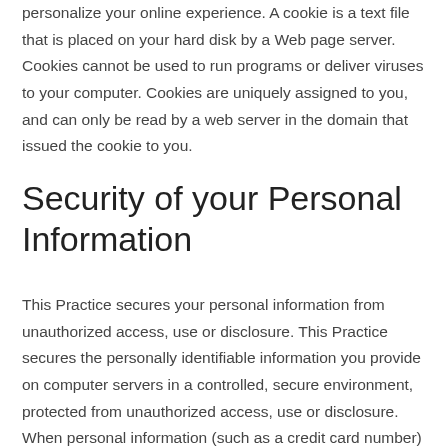personalize your online experience. A cookie is a text file that is placed on your hard disk by a Web page server. Cookies cannot be used to run programs or deliver viruses to your computer. Cookies are uniquely assigned to you, and can only be read by a web server in the domain that issued the cookie to you.
Security of your Personal Information
This Practice secures your personal information from unauthorized access, use or disclosure. This Practice secures the personally identifiable information you provide on computer servers in a controlled, secure environment, protected from unauthorized access, use or disclosure. When personal information (such as a credit card number) is transmitted to other Websites, it is protected through